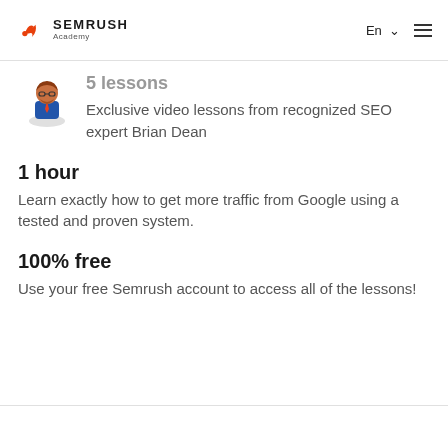Semrush Academy — En (language selector) | hamburger menu
5 lessons
Exclusive video lessons from recognized SEO expert Brian Dean
1 hour
Learn exactly how to get more traffic from Google using a tested and proven system.
100% free
Use your free Semrush account to access all of the lessons!